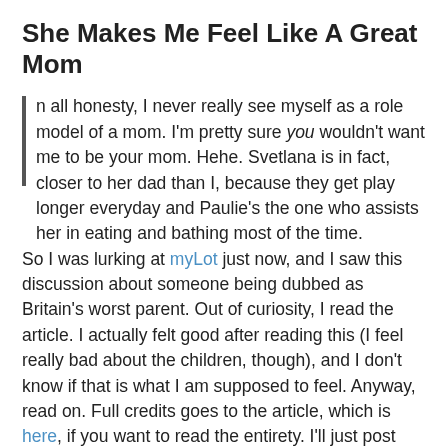She Makes Me Feel Like A Great Mom
In all honesty, I never really see myself as a role model of a mom. I'm pretty sure you wouldn't want me to be your mom. Hehe. Svetlana is in fact, closer to her dad than I, because they get play longer everyday and Paulie's the one who assists her in eating and bathing most of the time. So I was lurking at myLot just now, and I saw this discussion about someone being dubbed as Britain's worst parent. Out of curiosity, I read the article. I actually felt good after reading this (I feel really bad about the children, though), and I don't know if that is what I am supposed to feel. Anyway, read on. Full credits goes to the article, which is here, if you want to read the entirety. I'll just post here the details I found disturbing.:
A single mum was yesterday branded Britain's worst parent after she left her four young children home alone to go on a 24-hour drinking binge.